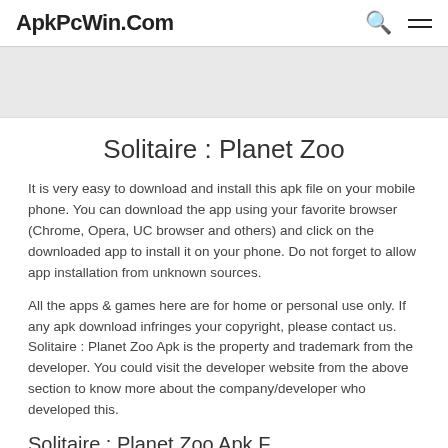ApkPcWin.Com
Solitaire : Planet Zoo
It is very easy to download and install this apk file on your mobile phone. You can download the app using your favorite browser (Chrome, Opera, UC browser and others) and click on the downloaded app to install it on your phone. Do not forget to allow app installation from unknown sources.
All the apps & games here are for home or personal use only. If any apk download infringes your copyright, please contact us. Solitaire : Planet Zoo Apk is the property and trademark from the developer. You could visit the developer website from the above section to know more about the company/developer who developed this.
Solitaire : Planet Zoo Apk F…